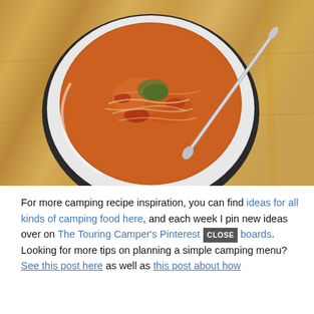[Figure (photo): Overhead view of a white bowl containing orange/red soup (chicken or tomato-based) with shredded meat and vegetables, a silver spoon resting in the bowl, placed on a wooden surface]
For more camping recipe inspiration, you can find ideas for all kinds of camping food here, and each week I pin new ideas over on The Touring Camper's Pinterest boards. Looking for more tips on planning a simple camping menu? See this post here as well as this post about how